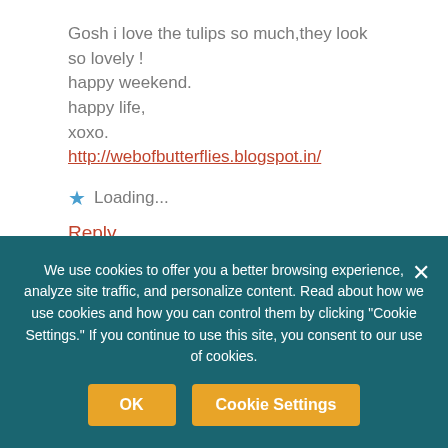Gosh i love the tulips so much,they look so lovely ! happy weekend. happy life, xoxo. http://webofbutterflies.blogspot.in/
Loading...
Reply
Pingback: 10 Things We're Loving Online | May – The Nostalgia Diaries
We use cookies to offer you a better browsing experience, analyze site traffic, and personalize content. Read about how we use cookies and how you can control them by clicking "Cookie Settings." If you continue to use this site, you consent to our use of cookies.